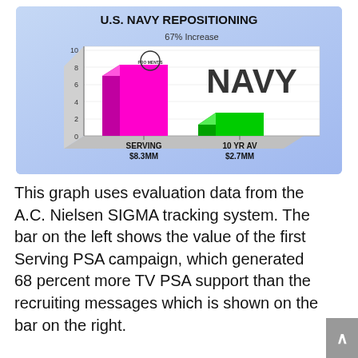[Figure (bar-chart): U.S. NAVY REPOSITIONING]
This graph uses evaluation data from the A.C. Nielsen SIGMA tracking system. The bar on the left shows the value of the first Serving PSA campaign, which generated 68 percent more TV PSA support than the recruiting messages which is shown on the bar on the right.